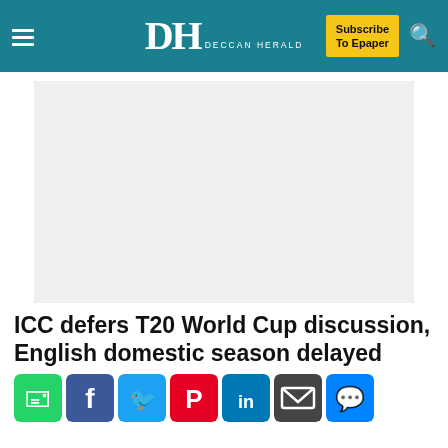DH DECCAN HERALD | Subscribe To Epaper
[Figure (other): Advertisement placeholder image (light gray box)]
ICC defers T20 World Cup discussion, English domestic season delayed
[Figure (infographic): Social sharing icons: WhatsApp, Facebook, Twitter, Pinterest, LinkedIn, Email, Messenger]